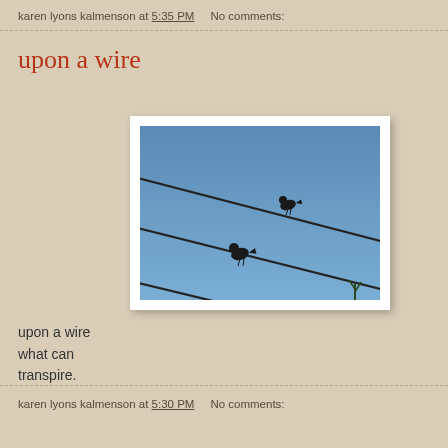karen lyons kalmenson at 5:35 PM    No comments:
upon a wire
[Figure (photo): Two bird silhouettes perched on parallel diagonal wires against a blue sky, small tree visible at bottom right]
upon a wire
what can
transpire.
karen lyons kalmenson at 5:30 PM    No comments: